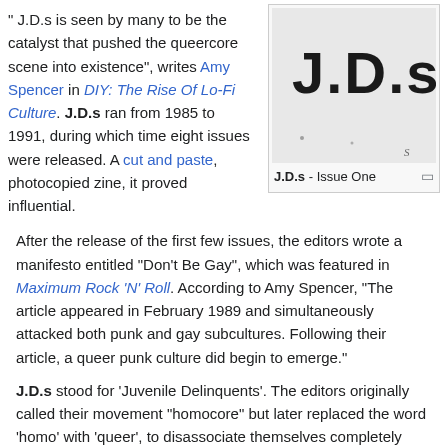" J.D.s is seen by many to be the catalyst that pushed the queercore scene into existence", writes Amy Spencer in DIY: The Rise Of Lo-Fi Culture. J.D.s ran from 1985 to 1991, during which time eight issues were released. A cut and paste, photocopied zine, it proved influential.
[Figure (photo): Black and white stencil-style logo showing 'J.D.s' text]
J.D.s - Issue One
After the release of the first few issues, the editors wrote a manifesto entitled "Don't Be Gay", which was featured in Maximum Rock 'N' Roll. According to Amy Spencer, "The article appeared in February 1989 and simultaneously attacked both punk and gay subcultures. Following their article, a queer punk culture did begin to emerge."
J.D.s stood for 'Juvenile Delinquents'. The editors originally called their movement "homocore" but later replaced the word 'homo' with 'queer', to disassociate themselves completely from the confines of the gay and lesbian communities' orthodoxy. G.B. Jones, interviewed in DIY: The Rise Of Lo-Fi Culture, says, "...we were just as eager to provoke the gays and lesbians as we were the punks."
The zine featured the photos and the "Tom Girl" drawings of G.B. Jones, fiction by Bruce LaBruce, and the "J.D.s Top Ten Homocore Hits", a list of